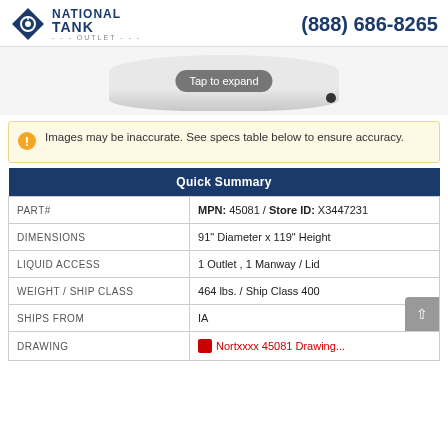NATIONAL TANK OUTLET | (888) 686-8265
[Figure (photo): Tank product image with 'Tap to expand' overlay button]
Images may be inaccurate. See specs table below to ensure accuracy.
| Quick Summary |  |
| --- | --- |
| PART# | MPN: 45081 / Store ID: X3447231 |
| DIMENSIONS | 91" Diameter x 119" Height |
| LIQUID ACCESS | 1 Outlet , 1 Manway / Lid |
| WEIGHT / SHIP CLASS | 464 lbs. / Ship Class 400 |
| SHIPS FROM | IA |
| DRAWING | Nortxxxx 45081 Drawing... |